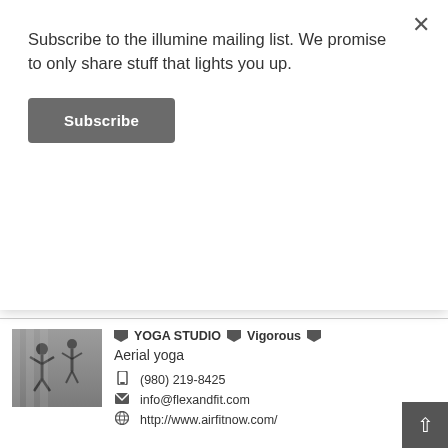Subscribe to the illumine mailing list. We promise to only share stuff that lights you up.
Subscribe
✕
[Figure (photo): People doing aerial yoga in a studio, silhouetted against large windows]
YOGA STUDIO  Vigorous  Aerial yoga
(980) 219-8425
info@flexandfit.com
http://www.airfitnow.com/
[Figure (logo): AIR. Aerial Fitness logo — black circle with 'AIR.' text in white, followed by 'AERIAL FITNESS' in grey]